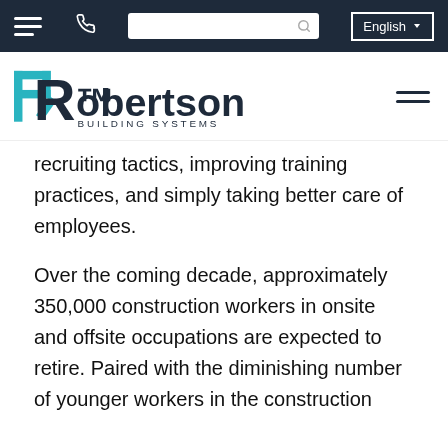Navigation bar with hamburger menu, phone icon, search bar, and English language selector
[Figure (logo): Robertson Building Systems logo with teal and dark blue R icon and company name]
recruiting tactics, improving training practices, and simply taking better care of employees.
Over the coming decade, approximately 350,000 construction workers in onsite and offsite occupations are expected to retire. Paired with the diminishing number of younger workers in the construction